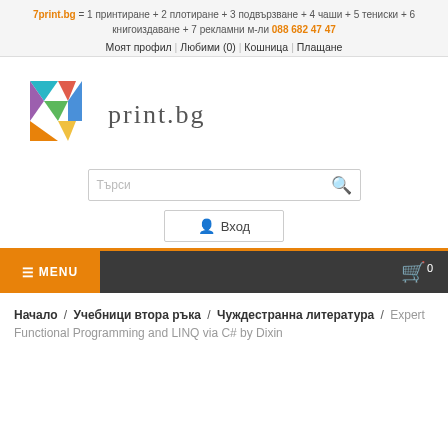7print.bg = 1 принтиране + 2 плотиране + 3 подвързване + 4 чаши + 5 тениски + 6 книгоиздаване + 7 рекламни м-ли 088 682 47 47
Моят профил | Любими (0) | Кошница | Плащане
[Figure (logo): 7print.bg colorful logo with a '7' shape made of colored triangles and 'print.bg' text]
Търси
Вход
MENU
0
Начало / Учебници втора ръка / Чуждестранна литература / Expert Functional Programming and LINQ via C# by Dixin